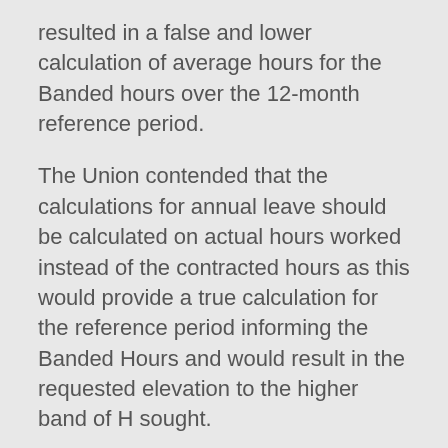resulted in a false and lower calculation of average hours for the Banded hours over the 12-month reference period.
The Union contended that the calculations for annual leave should be calculated on actual hours worked instead of the contracted hours as this would provide a true calculation for the reference period informing the Banded Hours and would result in the requested elevation to the higher band of H sought.
The Union exhibited pay slips, where annual leave was clarified
The Union proceeded to argue that the provisions of section 19 of the Act confirm